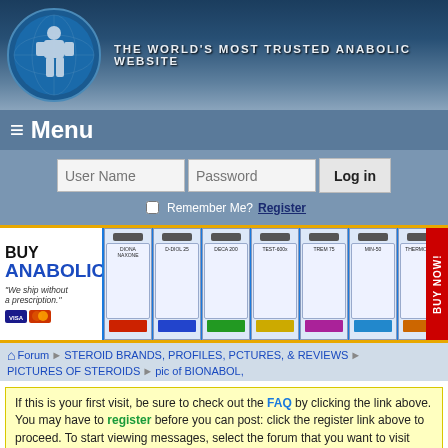[Figure (screenshot): Website header banner with logo and tagline: THE WORLD'S MOST TRUSTED ANABOLIC WEBSITE]
≡ Menu
[Figure (screenshot): Login form with User Name and Password fields and Log in button, plus Remember Me checkbox and Register link]
[Figure (screenshot): Buy Anabolics advertisement banner with product bottles]
Forum ❯ STEROID BRANDS, PROFILES, PCTURES, & REVIEWS ❯ PICTURES OF STEROIDS ❯ pic of BIONABOL,
If this is your first visit, be sure to check out the FAQ by clicking the link above. You may have to register before you can post: click the register link above to proceed. To start viewing messages, select the forum that you want to visit from the selection below.
Results 1 to 9 of 9